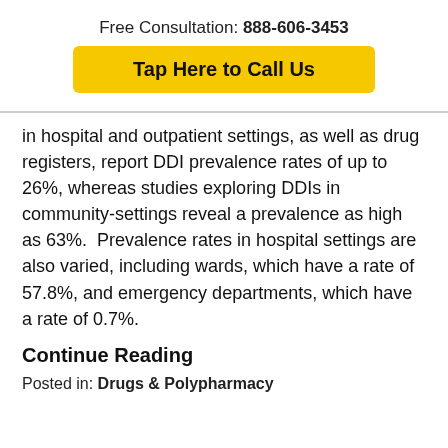Free Consultation: 888-606-3453
Tap Here to Call Us
in hospital and outpatient settings, as well as drug registers, report DDI prevalence rates of up to 26%, whereas studies exploring DDIs in community-settings reveal a prevalence as high as 63%.  Prevalence rates in hospital settings are also varied, including wards, which have a rate of 57.8%, and emergency departments, which have a rate of 0.7%.
Continue Reading
Posted in: Drugs & Polypharmacy